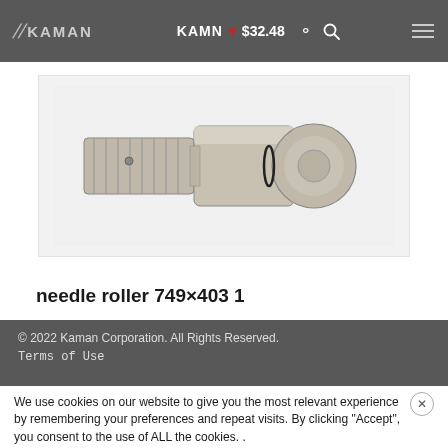KAMAN · $32.48
[Figure (photo): Close-up photo of a metallic needle roller connector fitting (part 749×403 1) with threaded end and quick-connect body on a light gray background]
needle roller 749×403 1
© 2022 Kaman Corporation. All Rights Reserved.
Terms of Use
We use cookies on our website to give you the most relevant experience by remembering your preferences and repeat visits. By clicking "Accept", you consent to the use of ALL the cookies. .